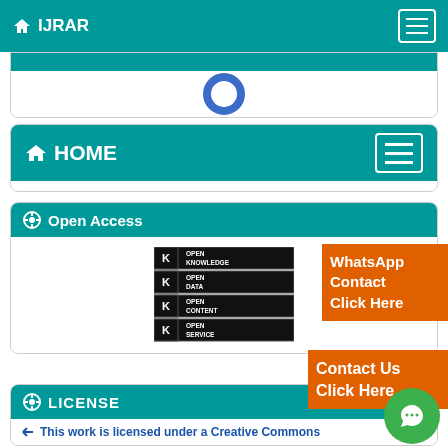IJRAR
HOME
Open Access
[Figure (illustration): Open Knowledge badges: Open Knowledge, Open Data, Open Content, Open Service]
WhatsApp Contact Click Here
Contact Us Click Here
LICENSE
This work is licensed under a Creative Commons